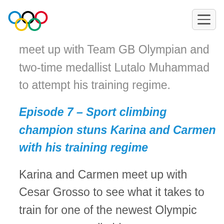Olympic rings logo and navigation menu
Social influencers Kelsey Lee and DC meet up with Team GB Olympian and two-time medallist Lutalo Muhammad to attempt his training regime.
Episode 7 – Sport climbing champion stuns Karina and Carmen with his training regime
Karina and Carmen meet up with Cesar Grosso to see what it takes to train for one of the newest Olympic sports – sport climbing.